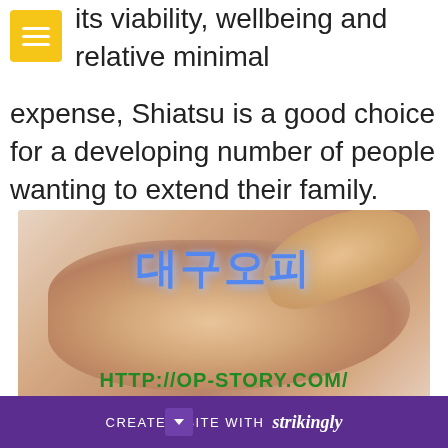its viability, wellbeing and relative minimal expense, Shiatsu is a good choice for a developing number of people wanting to extend their family.
[Figure (photo): A man receiving a head massage, with hands pressing on his temples/forehead. Korean text '대구오피' overlaid in blue, and URL 'HTTP://OP-STORY.COM/' overlaid in green at the bottom of the image.]
Wha
CREATE A SITE WITH strikingly